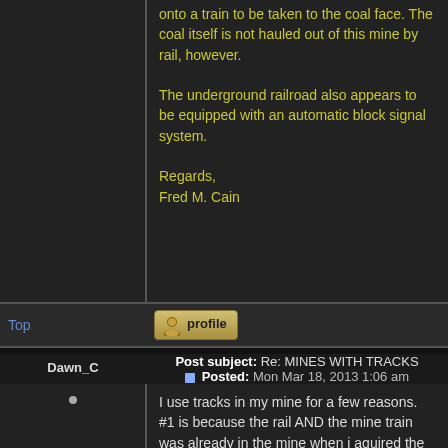onto a train to be taken to the coal face. The coal itself is not hauled out of this mine by rail, however.

The underground railroad also appears to be equipped with an automatic block signal system.

Regards,
Fred M. Cain
Top
[Figure (other): Profile button with user icon]
Post subject: Re: MINES WITH TRACKS
Posted: Mon Mar 18, 2013 1:06 am
Dawn_C
Joined: Fri Jan 22, 2010 1:15 am
Posts: 38
I use tracks in my mine for a few reasons. #1 is because the rail AND the mine train was already in the mine when i aquired the mine (I have 9 mines and my main one im most interested in is the one with